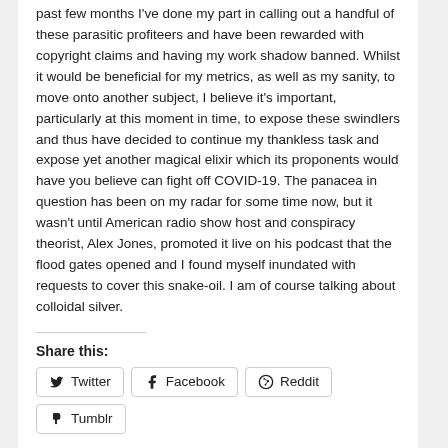past few months I've done my part in calling out a handful of these parasitic profiteers and have been rewarded with copyright claims and having my work shadow banned. Whilst it would be beneficial for my metrics, as well as my sanity, to move onto another subject, I believe it's important, particularly at this moment in time, to expose these swindlers and thus have decided to continue my thankless task and expose yet another magical elixir which its proponents would have you believe can fight off COVID-19. The panacea in question has been on my radar for some time now, but it wasn't until American radio show host and conspiracy theorist, Alex Jones, promoted it live on his podcast that the flood gates opened and I found myself inundated with requests to cover this snake-oil. I am of course talking about colloidal silver.
Share this:
Twitter
Facebook
Reddit
Tumblr